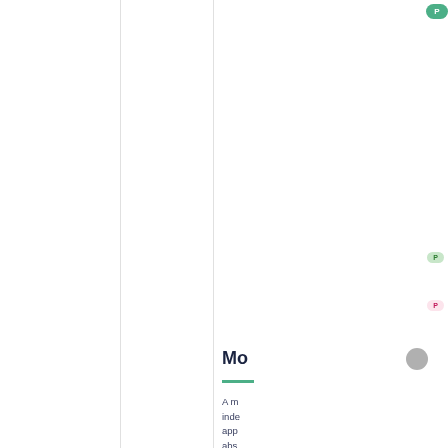[Figure (screenshot): UI badge element in green color at top right of right column]
[Figure (screenshot): Small green pill badge in right column]
[Figure (screenshot): Small pink pill badge in right column]
[Figure (screenshot): Gray circle element in right column]
Mo
A m
inde
app
abs
to a
app
mo
san
use
with
app